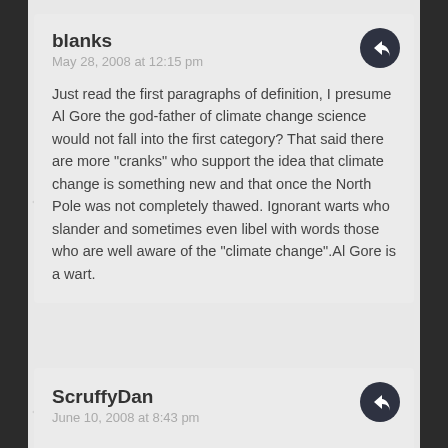blanks
May 28, 2008 at 12:15 pm
Just read the first paragraphs of definition, I presume Al Gore the god-father of climate change science would not fall into the first category? That said there are more "cranks" who support the idea that climate change is something new and that once the North Pole was not completely thawed. Ignorant warts who slander and sometimes even libel with words those who are well aware of the "climate change".Al Gore is a wart.
ScruffyDan
June 10, 2008 at 8:43 pm